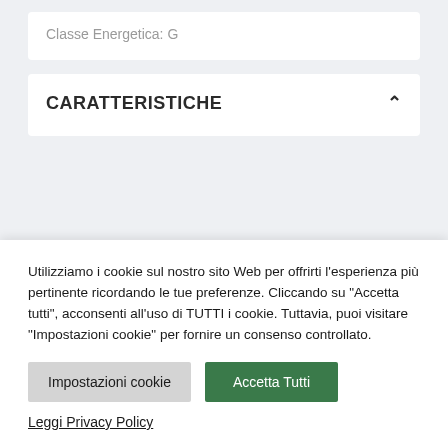Classe Energetica: G
CARATTERISTICHE
Utilizziamo i cookie sul nostro sito Web per offrirti l'esperienza più pertinente ricordando le tue preferenze. Cliccando su "Accetta tutti", acconsenti all'uso di TUTTI i cookie. Tuttavia, puoi visitare "Impostazioni cookie" per fornire un consenso controllato.
Impostazioni cookie
Accetta Tutti
Leggi Privacy Policy